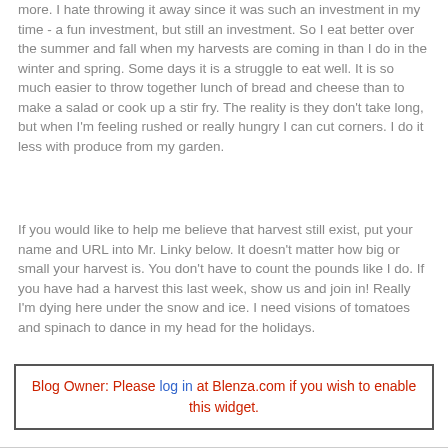more. I hate throwing it away since it was such an investment in my time - a fun investment, but still an investment. So I eat better over the summer and fall when my harvests are coming in than I do in the winter and spring. Some days it is a struggle to eat well. It is so much easier to throw together lunch of bread and cheese than to make a salad or cook up a stir fry. The reality is they don't take long, but when I'm feeling rushed or really hungry I can cut corners. I do it less with produce from my garden.
If you would like to help me believe that harvest still exist, put your name and URL into Mr. Linky below. It doesn't matter how big or small your harvest is. You don't have to count the pounds like I do. If you have had a harvest this last week, show us and join in! Really I'm dying here under the snow and ice. I need visions of tomatoes and spinach to dance in my head for the holidays.
Blog Owner: Please log in at Blenza.com if you wish to enable this widget.